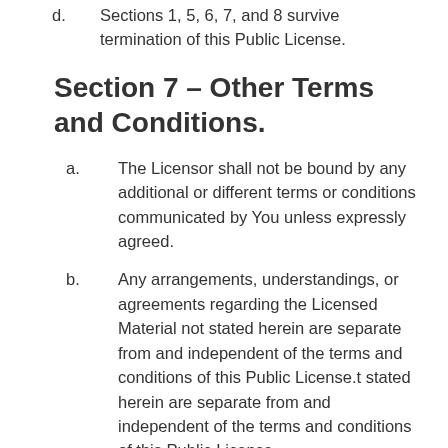d. Sections 1, 5, 6, 7, and 8 survive termination of this Public License.
Section 7 – Other Terms and Conditions.
a. The Licensor shall not be bound by any additional or different terms or conditions communicated by You unless expressly agreed.
b. Any arrangements, understandings, or agreements regarding the Licensed Material not stated herein are separate from and independent of the terms and conditions of this Public License.t stated herein are separate from and independent of the terms and conditions of this Public License.